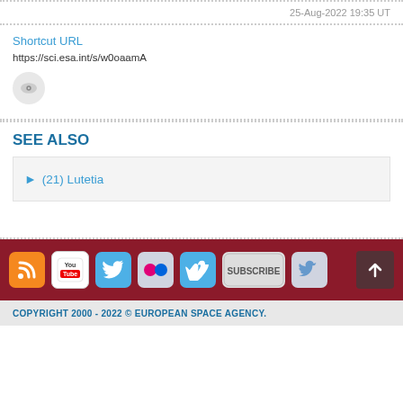25-Aug-2022 19:35 UT
Shortcut URL
https://sci.esa.int/s/w0oaamA
SEE ALSO
(21) Lutetia
COPYRIGHT 2000 - 2022 © EUROPEAN SPACE AGENCY.